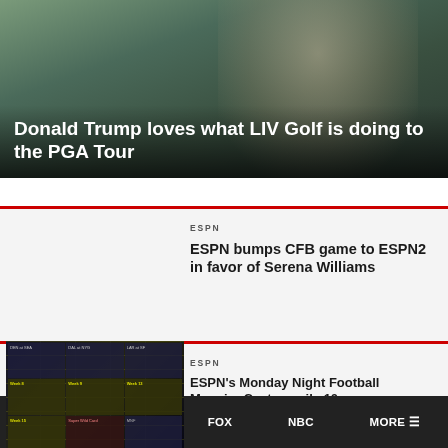[Figure (photo): Hero image of person (Donald Trump) in golf attire against green background]
Donald Trump loves what LIV Golf is doing to the PGA Tour
[Figure (photo): Tennis player hitting a shot with crowd in background]
ESPN
ESPN bumps CFB game to ESPN2 in favor of Serena Williams
[Figure (screenshot): MNF schedule grid showing weeks and matchups]
ESPN
ESPN's Monday Night Football ManningCast unveils 10-game schedule, starting Sept. 12
HOME  ESPN  FOX  NBC  MORE